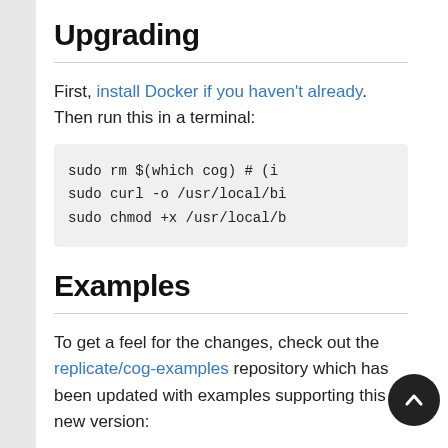Upgrading
First, install Docker if you haven't already. Then run this in a terminal:
sudo rm $(which cog) # (i
sudo curl -o /usr/local/bi
sudo chmod +x /usr/local/b
Examples
To get a feel for the changes, check out the replicate/cog-examples repository which has been updated with examples supporting this new version: